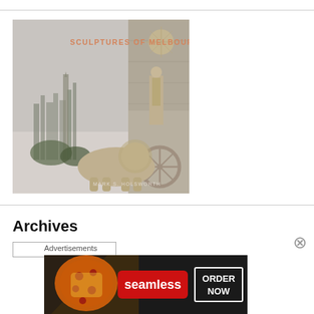[Figure (photo): Book cover of 'Sculptures of Melbourne' by Mark S. Holsworth. Shows classical stone sculptures including a lion and human figure against a backdrop of the Melbourne city skyline. Title text in orange: 'SCULPTURES OF MELBOURNE'. Author name at bottom: 'MARK S. HOLSWORTH'.]
Archives
Advertisements
[Figure (photo): Advertisement banner for Seamless food delivery service. Shows pizza slices on dark background with red 'seamless' logo badge and 'ORDER NOW' button in outlined box on dark right side.]